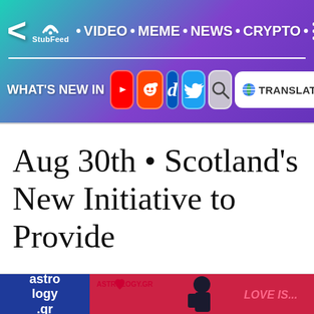StubFeed · VIDEO · MEME · NEWS · CRYPTO · WHAT'S NEW IN [YouTube] [Reddit] [Digg] [Twitter] [Search] [G TRANSLATE]
Aug 30th • Scotland's New Initiative to Provide
[Figure (screenshot): Astrology.gr logo (blue square with white text) and a pink/red Love Is... illustration showing a cartoon figure]